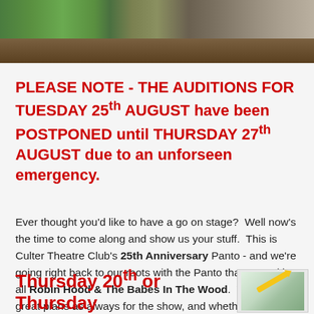[Figure (photo): Top portion of image showing green foliage/grass and wooden background, likely related to Robin Hood / forest theme]
PLEASE NOTE - THE AUDITIONS FOR TUESDAY 25th AUGUST have been POSTPONED until THURSDAY 27th AUGUST due to an unforseen emergency.
Ever thought you'd like to have a go on stage?  Well now's the time to come along and show us your stuff.  This is Culter Theatre Club's 25th Anniversary Panto - and we're going right back to our roots with the Panto that started it all Robin Hood & The Babes In The Wood.  We've got great plans as always for the show, and whether you want one of the main parts, a supporting role, or just to be one of our great chorus, young or old, we'd love for you to come along.  So add the date to your diary today:
Thursday 20th or Thursday
[Figure (illustration): Small thumbnail image in bottom right corner, appears to show a green/outdoor scene possibly with a pencil or similar object]